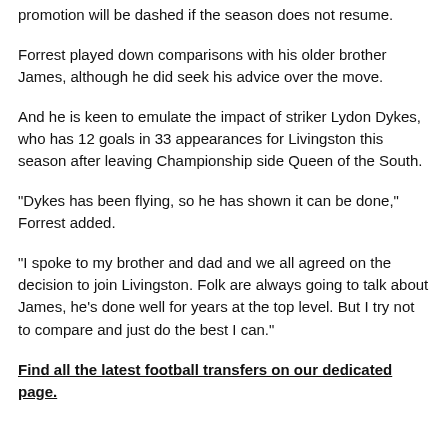promotion will be dashed if the season does not resume.
Forrest played down comparisons with his older brother James, although he did seek his advice over the move.
And he is keen to emulate the impact of striker Lydon Dykes, who has 12 goals in 33 appearances for Livingston this season after leaving Championship side Queen of the South.
"Dykes has been flying, so he has shown it can be done," Forrest added.
"I spoke to my brother and dad and we all agreed on the decision to join Livingston. Folk are always going to talk about James, he's done well for years at the top level. But I try not to compare and just do the best I can."
Find all the latest football transfers on our dedicated page.